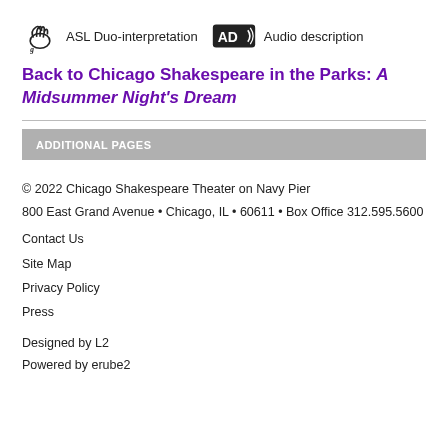ASL Duo-interpretation   Audio description
Back to Chicago Shakespeare in the Parks: A Midsummer Night's Dream
ADDITIONAL PAGES
© 2022 Chicago Shakespeare Theater on Navy Pier
800 East Grand Avenue • Chicago, IL • 60611 • Box Office 312.595.5600
Contact Us
Site Map
Privacy Policy
Press
Designed by L2
Powered by erube2